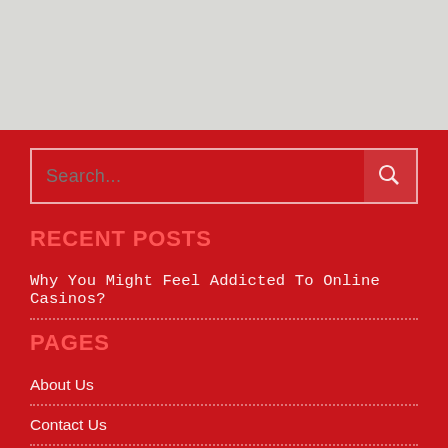RECENT POSTS
Why You Might Feel Addicted To Online Casinos?
PAGES
About Us
Contact Us